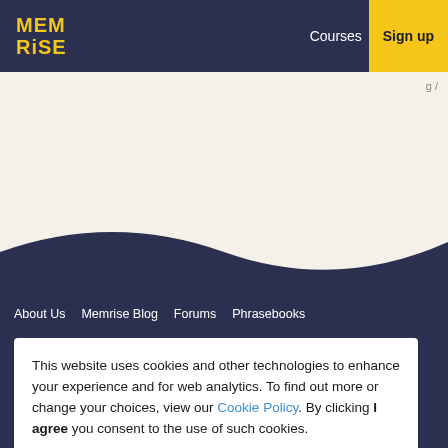Memrise — Courses | Log in | Sign up
[Figure (screenshot): Memrise website navigation bar with logo, Courses, Log in, and Sign up links on dark navy background]
About Us   Memrise Blog   Forums   Phrasebooks
This website uses cookies and other technologies to enhance your experience and for web analytics. To find out more or change your choices, view our Cookie Policy. By clicking I agree you consent to the use of such cookies.
I agree